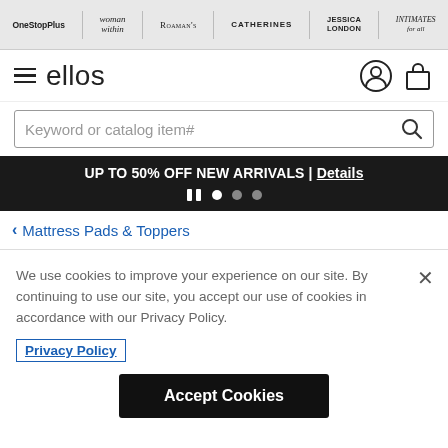OneStopPlus | woman within | ROAMAN'S | CATHERINES | JESSICA LONDON | INTIMATES for all
[Figure (screenshot): Ellos logo with hamburger menu icon, user account icon, and shopping bag icon]
Keyword or catalog item#
UP TO 50% OFF NEW ARRIVALS | Details
< Mattress Pads & Toppers
We use cookies to improve your experience on our site. By continuing to use our site, you accept our use of cookies in accordance with our Privacy Policy.
Privacy Policy
Accept Cookies